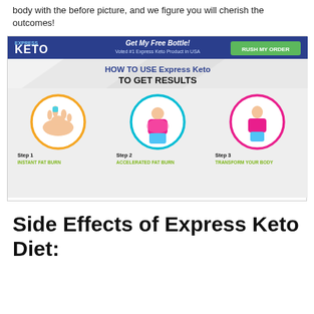body with the before picture, and we figure you will cherish the outcomes!
[Figure (infographic): Infographic showing 'HOW TO USE Express Keto TO GET RESULTS' with three steps: Step 1 Instant Fat Burn, Step 2 Accelerated Fat Burn, Step 3 Transform Your Body, each with circular illustration and description text. Header bar shows Express Keto logo with 'Get My Free Bottle!' and 'RUSH MY ORDER' button.]
Side Effects of Express Keto Diet: